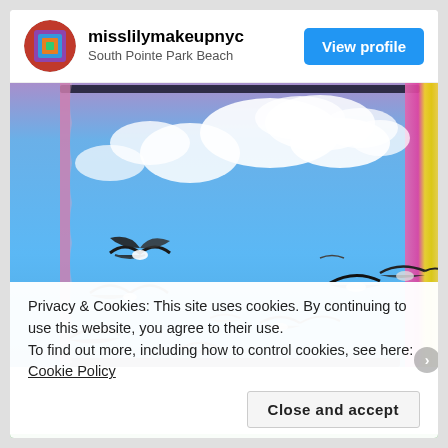misslilymakeupnyc
South Pointe Park Beach
[Figure (photo): Instagram-style photo of seagulls flying in a bright blue sky with white clouds, with a vintage/polaroid border effect. Several seagulls in various flight positions against the vivid blue sky. A colorful strip visible on the right edge.]
Privacy & Cookies: This site uses cookies. By continuing to use this website, you agree to their use.
To find out more, including how to control cookies, see here: Cookie Policy
Close and accept